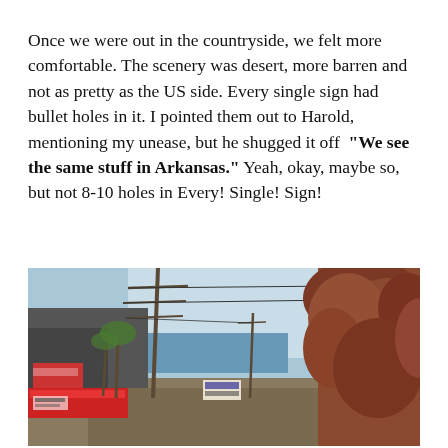Once we were out in the countryside, we felt more comfortable. The scenery was desert, more barren and not as pretty as the US side. Every single sign had bullet holes in it. I pointed them out to Harold, mentioning my unease, but he shugged it off  “We see the same stuff in Arkansas.” Yeah, okay, maybe so, but not 8-10 holes in Every! Single! Sign!
[Figure (photo): Street-level photograph showing utility poles with power lines, roadside commercial buildings and signage, palm trees, a body of water visible in the background, and dense reddish-brown foliage on the right. Blue sky visible.]